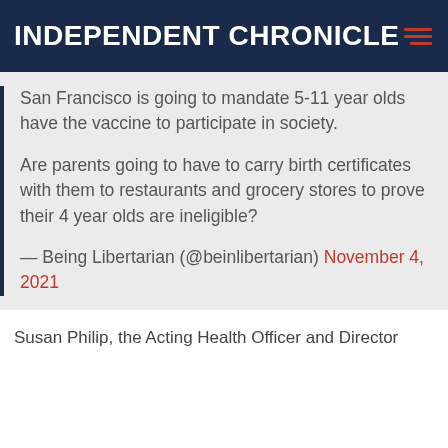INDEPENDENT CHRONICLE
San Francisco is going to mandate 5-11 year olds have the vaccine to participate in society.

Are parents going to have to carry birth certificates with them to restaurants and grocery stores to prove their 4 year olds are ineligible?

— Being Libertarian (@beinlibertarian) November 4, 2021
Susan Philip, the Acting Health Officer and Director